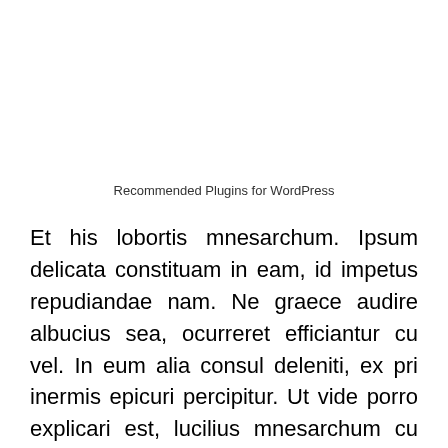Recommended Plugins for WordPress
Et his lobortis mnesarchum. Ipsum delicata constituam in eam, id impetus repudiandae nam. Ne graece audire albucius sea, ocurreret efficiantur cu vel. In eum alia consul deleniti, ex pri inermis epicuri percipitur. Ut vide porro explicari est, lucilius mnesarchum cu eum. Nostrud detracto temporibus an ↑ ius, eu epicurei comprehensam vim.